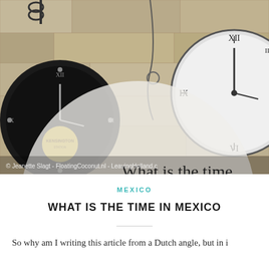[Figure (photo): Photo of multiple clocks on a stone wall background with a semi-transparent circular overlay containing the text 'What is the time in Mexico'. A watermark reads '© Jeanette Slagt - FloatingCoconut.nl - LeavingHolland.c']
MEXICO
WHAT IS THE TIME IN MEXICO
So why am I writing this article from a Dutch angle, but in i